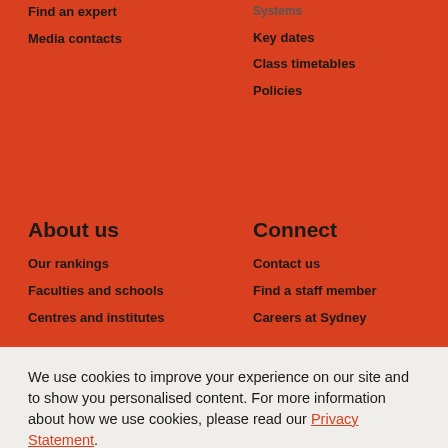Find an expert
Media contacts
Key dates
Class timetables
Policies
About us
Connect
Our rankings
Faculties and schools
Centres and institutes
Contact us
Find a staff member
Careers at Sydney
We use cookies to improve your experience on our site and to show you personalised content. For more information about how we use cookies, please read our Privacy Statement.
[Figure (other): OK button with white top portion and red bottom portion containing 'OK' text in white]